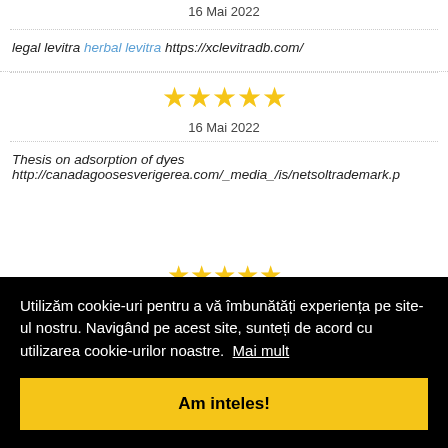16 Mai 2022
legal levitra herbal levitra https://xclevitradb.com/
[Figure (other): Five gold star rating]
16 Mai 2022
Thesis on adsorption of dyes http://canadagoosesverigerea.com/_media_/is/netsoltrademark.p
Utilizăm cookie-uri pentru a vă îmbunătăți experiența pe site-ul nostru. Navigând pe acest site, sunteți de acord cu utilizarea cookie-urilor noastre. Mai mult
Am inteles!
[Figure (other): Five gold star rating partially visible at bottom]